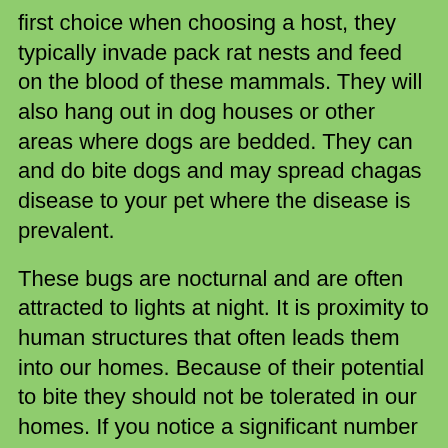first choice when choosing a host, they typically invade pack rat nests and feed on the blood of these mammals. They will also hang out in dog houses or other areas where dogs are bedded. They can and do bite dogs and may spread chagas disease to your pet where the disease is prevalent.
These bugs are nocturnal and are often attracted to lights at night. It is proximity to human structures that often leads them into our homes. Because of their potential to bite they should not be tolerated in our homes. If you notice a significant number of these around your home, you may want to consider extermination. Making sure homes are sealed tight leaving no cracks for them to crawl through should help keep them out of your home. Eliminating areas where rodents would be attracted to will also help as they are frequent feeders on rodents, and will definitely be attracted to areas where mice and rats are located.
There is no reason to live in fear of these bugs, especially in Missouri as they do not occur in large numbers. I've only ever seen two in 20 years. They are harmless outside in their natural habitat feeding on rodents and other mammals.